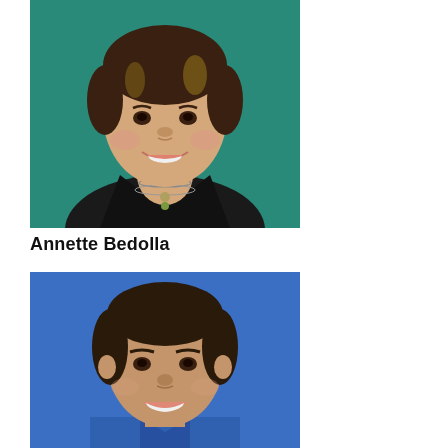[Figure (photo): Senior portrait of Annette Bedolla, a young woman smiling, wearing a black off-shoulder top and layered necklaces, against a teal/green background.]
Annette Bedolla
[Figure (photo): Senior portrait of a young man smiling, wearing a blue collared shirt, against a blue background.]